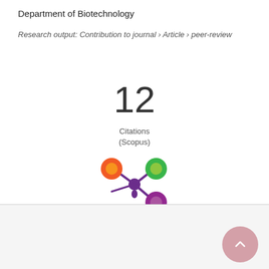Department of Biotechnology
Research output: Contribution to journal › Article › peer-review
12 Citations (Scopus)
[Figure (logo): Altmetric donut/flower logo with orange, green, and purple colored circles on purple stem]
Overview
Fingerprint